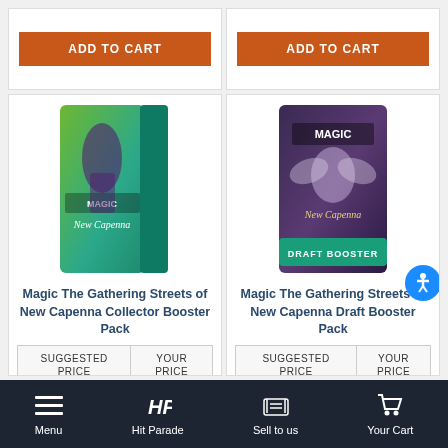[Figure (screenshot): Add to Cart button for first product (top left card)]
[Figure (screenshot): Add to Cart button for second product (top right card)]
[Figure (photo): Magic The Gathering Streets of New Capenna Collector Booster Pack product image - green and teal booster pack]
Magic The Gathering Streets of New Capenna Collector Booster Pack
| SUGGESTED PRICE | YOUR PRICE |
| --- | --- |
| $24.95 | $19.95 |
[Figure (photo): Magic The Gathering Streets of New Capenna Draft Booster Pack product image - dark purple booster pack]
Magic The Gathering Streets of New Capenna Draft Booster Pack
| SUGGESTED PRICE | YOUR PRICE |
| --- | --- |
| $3.95 | $3.15 |
Menu | Hit Parade | Sell to us | Your Cart